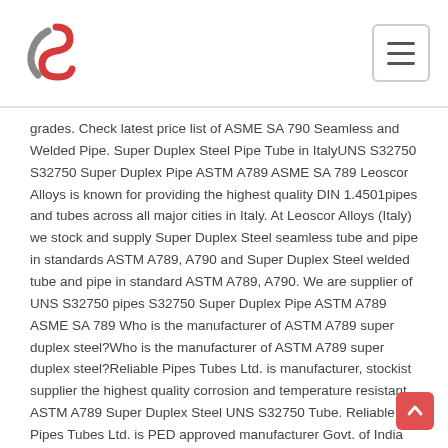Leoscor Alloys logo and navigation menu
grades. Check latest price list of ASME SA 790 Seamless and Welded Pipe. Super Duplex Steel Pipe Tube in ItalyUNS S32750 S32750 Super Duplex Pipe ASTM A789 ASME SA 789 Leoscor Alloys is known for providing the highest quality DIN 1.4501pipes and tubes across all major cities in Italy. At Leoscor Alloys (Italy) we stock and supply Super Duplex Steel seamless tube and pipe in standards ASTM A789, A790 and Super Duplex Steel welded tube and pipe in standard ASTM A789, A790. We are supplier of UNS S32750 pipes S32750 Super Duplex Pipe ASTM A789 ASME SA 789 Who is the manufacturer of ASTM A789 super duplex steel?Who is the manufacturer of ASTM A789 super duplex steel?Reliable Pipes Tubes Ltd. is manufacturer, stockist supplier the highest quality corrosion and temperature resistant ASTM A789 Super Duplex Steel UNS S32750 Tube. Reliable Pipes Tubes Ltd. is PED approved manufacturer Govt. of India recognized Export House